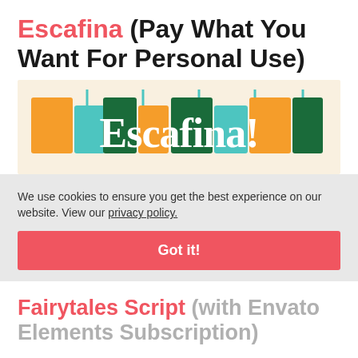Escafina (Pay What You Want For Personal Use)
[Figure (logo): Escafina font logo with colorful orange, teal, and green letter blocks spelling 'Escafina' on a warm beige background]
We use cookies to ensure you get the best experience on our website. View our privacy policy.
Got it!
Fairytales Script (with Envato Elements Subscription)